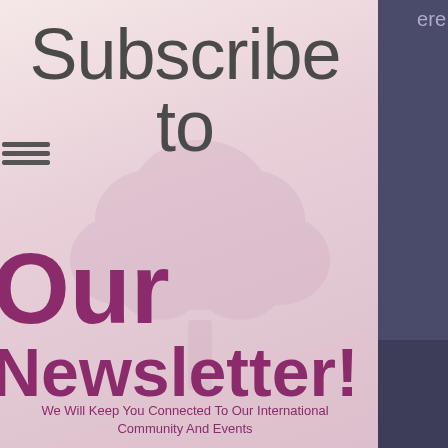ere
Subscribe to Our Newsletter!
We Will Keep You Connected To Our International Community And Events